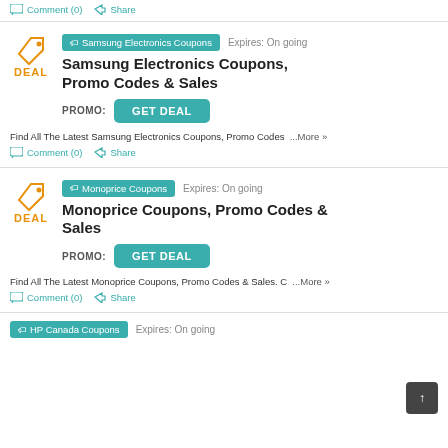Comment (0)   Share
Samsung Electronics Coupons   Expires: On going
Samsung Electronics Coupons, Promo Codes & Sales
PROMO: GET DEAL
Find All The Latest Samsung Electronics Coupons, Promo Codes  ...More »
Comment (0)   Share
Monoprice Coupons   Expires: On going
Monoprice Coupons, Promo Codes & Sales
PROMO: GET DEAL
Find All The Latest Monoprice Coupons, Promo Codes & Sales. C  ...More »
Comment (0)   Share
HP Canada Coupons   Expires: On going